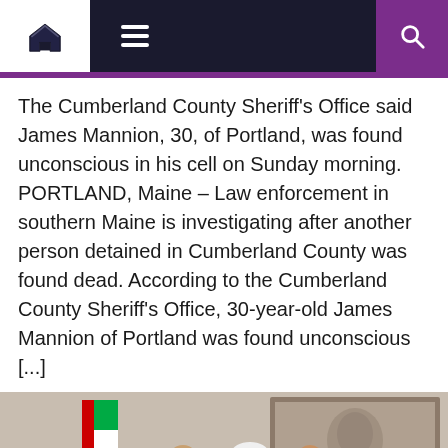Navigation bar with home, menu, and search icons
The Cumberland County Sheriff's Office said James Mannion, 30, of Portland, was found unconscious in his cell on Sunday morning. PORTLAND, Maine – Law enforcement in southern Maine is investigating after another person detained in Cumberland County was found dead. According to the Cumberland County Sheriff's Office, 30-year-old James Mannion of Portland was found unconscious [...]
[Figure (photo): Group photo of approximately 10 people, some seated and signing documents, others standing behind them, in a formal office setting with a UAE flag and a large portrait on the wall in the background.]